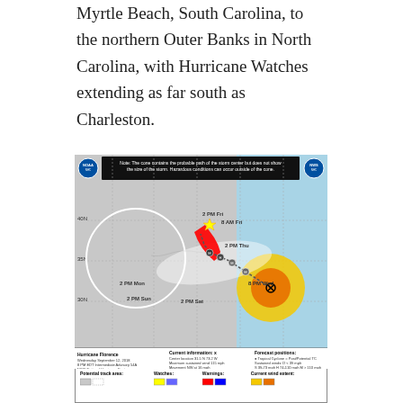Myrtle Beach, South Carolina, to the northern Outer Banks in North Carolina, with Hurricane Watches extending as far south as Charleston.
[Figure (map): NOAA NHC Hurricane Florence forecast cone map showing storm track from Atlantic toward Carolinas coast. Map dated Wednesday September 12, 2018, 8 PM EDT Intermediate Advisory 54A. Shows forecast positions for 2 PM Thu, 2 PM Fri, 8 PM Wed, 2 PM Sat, 2 PM Sun, 2 PM Mon, 2 PM Fri, 8 AM Fri. Yellow and orange uncertainty cone extends from storm near 65-70W toward Carolinas. Red zone shows hurricane warning area along the coast. Current location marked with X at approximately 31.5N 73.2W. Note says cone shows probable path of storm center but not size of storm.]
Hurricane Florence
Wednesday September 12, 2018
8 PM EDT Intermediate Advisory 54A
NWS National Hurricane Center

Current information: x
Center location 31.5 N 73.2 W
Maximum sustained wind 115 mph
Movement NW at 16 mph

Forecast positions:
● Tropical Cyclone   ○ Post/Potential TC
Sustained winds:    D < 39 mph
S 39-73 mph  H 74-110 mph  M > 110 mph

Potential track area:   Watches:   Warnings:   Current wind extent: